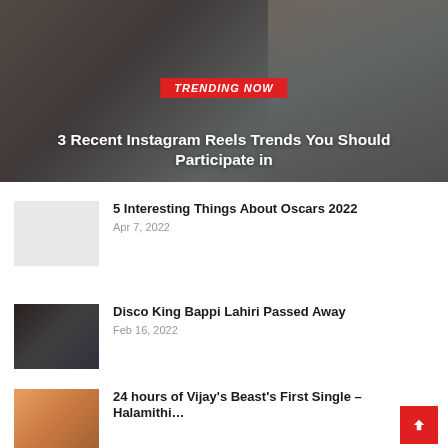[Figure (photo): Hero image of a woman filming herself with a phone on a tripod, shown against a blurred background. Red 'TRENDING NOW' badge overlaid.]
3 Recent Instagram Reels Trends You Should Participate in
[Figure (photo): Blank light gray thumbnail placeholder for Oscars 2022 article]
5 Interesting Things About Oscars 2022
Apr 7, 2022
[Figure (photo): Dark photo of Bappi Lahiri, the Disco King, wearing sunglasses]
Disco King Bappi Lahiri Passed Away
Feb 16, 2022
[Figure (photo): Colorful thumbnail showing Vijay for Beast movie article]
24 hours of Vijay's Beast's First Single – Halamithi…